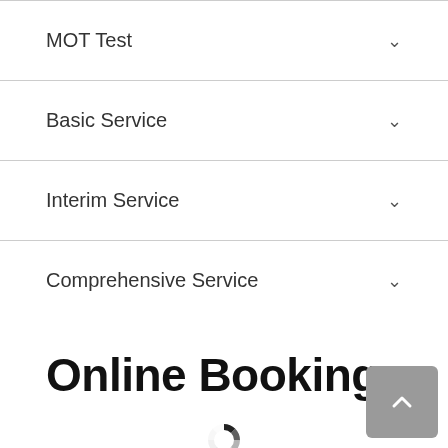MOT Test
Basic Service
Interim Service
Comprehensive Service
Online Booking
[Figure (other): Loading spinner circle icon]
The last MOT can be booked at 4pm, Monday to Friday and 2pm on Saturday.